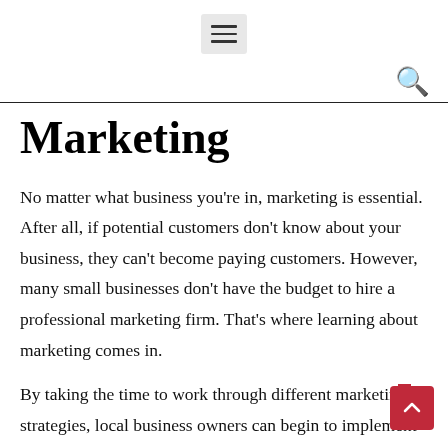≡
Marketing
No matter what business you're in, marketing is essential. After all, if potential customers don't know about your business, they can't become paying customers. However, many small businesses don't have the budget to hire a professional marketing firm. That's where learning about marketing comes in.
By taking the time to work through different marketing strategies, local business owners can begin to implement